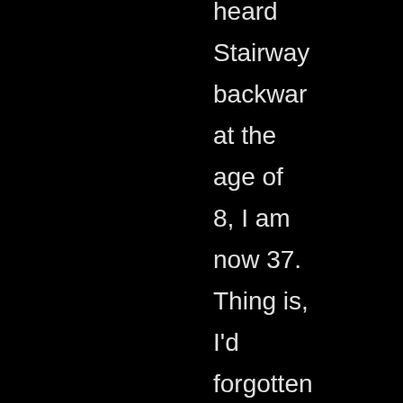heard Stairway backwards at the age of 8, I am now 37. Thing is, I'd forgotten all about the backward Stairway ideology until I accidentally found the WUWU FM exerpt on